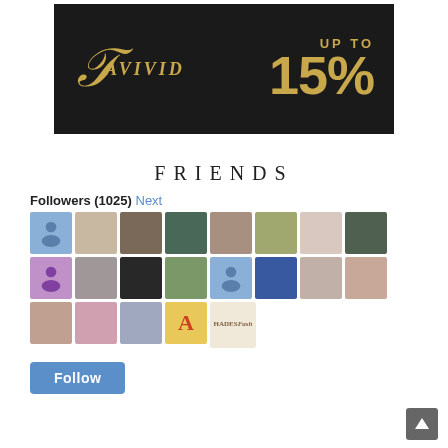[Figure (illustration): LaVivid brand advertisement banner on dark background with gold text reading UP TO 15%]
FRIENDS
Followers (1025) Next
[Figure (photo): Grid of 21 follower avatar photos/icons in three rows of 8, 8, and 5]
Follow